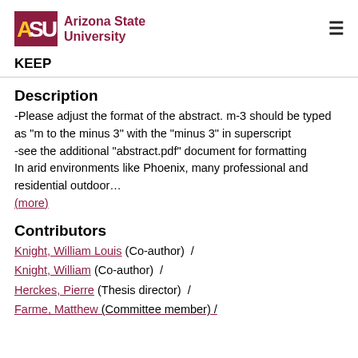ASU Arizona State University
KEEP
Description
-Please adjust the format of the abstract. m-3 should be typed as "m to the minus 3" with the "minus 3" in superscript
-see the additional "abstract.pdf" document for formatting
In arid environments like Phoenix, many professional and residential outdoor…
(more)
Contributors
Knight, William Louis (Co-author) /
Knight, William (Co-author) /
Herckes, Pierre (Thesis director) /
Farme, Matthew (Committee member) /